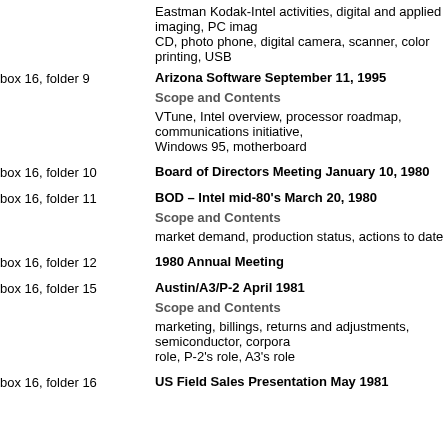Eastman Kodak-Intel activities, digital and applied imaging, PC imaging, CD, photo phone, digital camera, scanner, color printing, USB
box 16, folder 9 — Arizona Software September 11, 1995
Scope and Contents
VTune, Intel overview, processor roadmap, communications initiative, Windows 95, motherboard
box 16, folder 10 — Board of Directors Meeting January 10, 1980
box 16, folder 11 — BOD – Intel mid-80's March 20, 1980
Scope and Contents
market demand, production status, actions to date
box 16, folder 12 — 1980 Annual Meeting
box 16, folder 15 — Austin/A3/P-2 April 1981
Scope and Contents
marketing, billings, returns and adjustments, semiconductor, corporate role, P-2's role, A3's role
box 16, folder 16 — US Field Sales Presentation May 1981